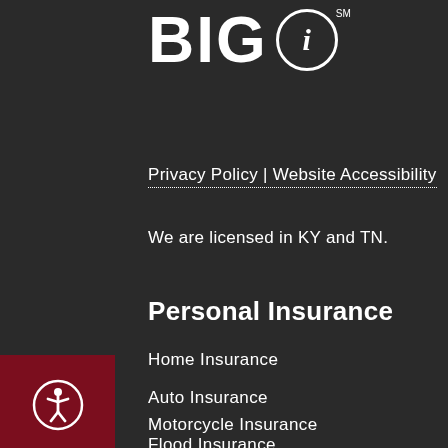[Figure (logo): BIG i logo with circular i symbol and SM superscript]
Privacy Policy | Website Accessibility
We are licensed in KY and TN.
[Figure (illustration): Accessibility icon - person in circle on dark red background]
Personal Insurance
Home Insurance
Auto Insurance
Motorcycle Insurance
Flood Insurance
Individual Life Insurance